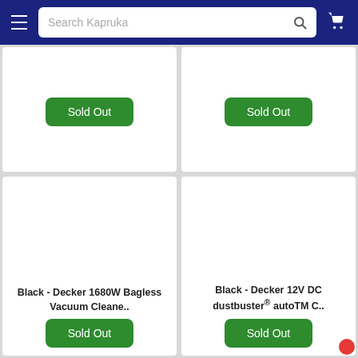Search Kapruka
[Figure (screenshot): Top-left product card with Sold Out green button]
[Figure (screenshot): Top-right product card with Sold Out green button]
[Figure (screenshot): Bottom-left product card: Black - Decker 1680W Bagless Vacuum Cleane.. with Sold Out button]
[Figure (screenshot): Bottom-right product card: Black - Decker 12V DC dustbuster® autoTM C.. with Sold Out button]